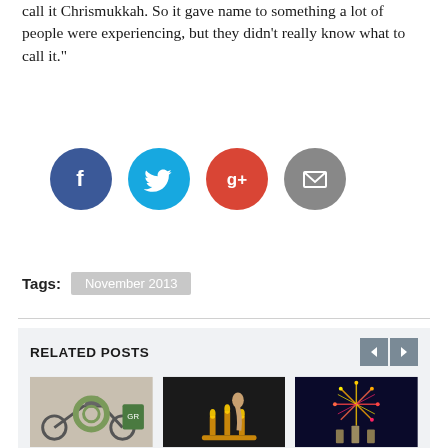call it Chrismukkah. So it gave name to something a lot of people were experiencing, but they didn’t really know what to call it.”
[Figure (infographic): Four social media share buttons as colored circles: Facebook (blue), Twitter (cyan), Google+ (red), Email (grey)]
Tags: November 2013
RELATED POSTS
[Figure (photo): Collage of holiday items: motorcycle, wreath, green bag]
The Splurge, For Stuffing, With Style
[Figure (photo): Person lighting candles on a menorah]
Joseph Keppel: The Magic Man
[Figure (photo): New Year fireworks with figurines in foreground]
New Year’s Nomads